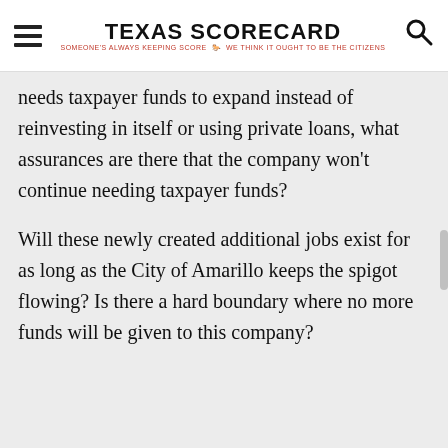TEXAS SCORECARD — SOMEONE'S ALWAYS KEEPING SCORE — WE THINK IT OUGHT TO BE THE CITIZENS
needs taxpayer funds to expand instead of reinvesting in itself or using private loans, what assurances are there that the company won't continue needing taxpayer funds?
Will these newly created additional jobs exist for as long as the City of Amarillo keeps the spigot flowing? Is there a hard boundary where no more funds will be given to this company?